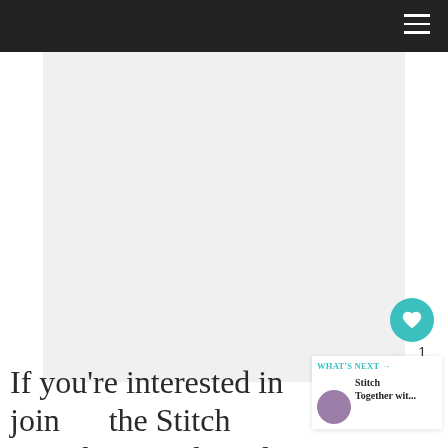[Figure (other): Large light gray image placeholder rectangle below the navigation bar]
If you're interested in joining the Stitch Together Crochet Along for the month of March,
[Figure (other): WHAT'S NEXT panel with avatar thumbnail and text: Stitch Together wit...]